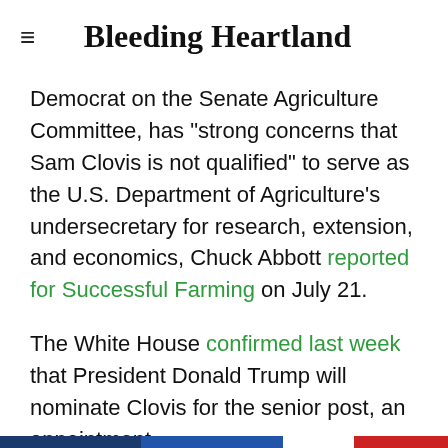Bleeding Heartland
Democrat on the Senate Agriculture Committee, has "strong concerns that Sam Clovis is not qualified" to serve as the U.S. Department of Agriculture's undersecretary for research, extension, and economics, Chuck Abbott reported for Successful Farming on July 21.
The White House confirmed last week that President Donald Trump will nominate Clovis for the senior post, an appointment